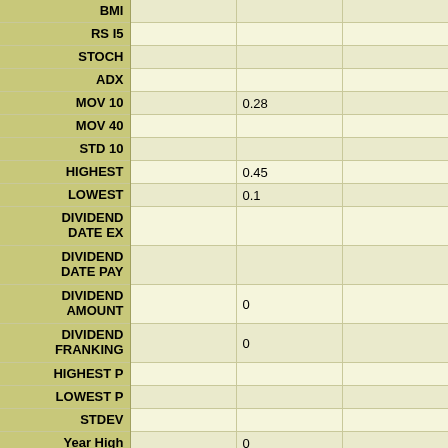| Row Label | Col1 | Col2 | Col3 |
| --- | --- | --- | --- |
| BMI |  |  |  |
| RS I5 |  |  |  |
| STOCH |  |  |  |
| ADX |  |  |  |
| MOV 10 |  | 0.28 |  |
| MOV 40 |  |  |  |
| STD 10 |  |  |  |
| HIGHEST |  | 0.45 |  |
| LOWEST |  | 0.1 |  |
| DIVIDEND DATE EX |  |  |  |
| DIVIDEND DATE PAY |  |  |  |
| DIVIDEND AMOUNT |  | 0 |  |
| DIVIDEND FRANKING |  | 0 |  |
| HIGHEST P |  |  |  |
| LOWEST P |  |  |  |
| STDEV |  |  |  |
| Year High |  | 0 |  |
| Year Low |  | 0 |  |
| Net Profit Margin% |  | 0 |  |
| Operating Margin% |  | 0 |  |
| Return on Avg |  | 0 |  |